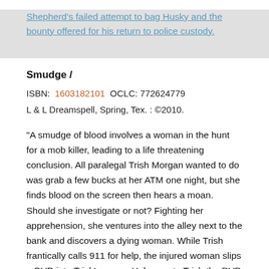Shepherd's failed attempt to bag Husky and the bounty offered for his return to police custody.
Smudge /
ISBN: 1603182101 OCLC: 772624779
L & L Dreamspell, Spring, Tex. : ©2010.
"A smudge of blood involves a woman in the hunt for a mob killer, leading to a life threatening conclusion. All paralegal Trish Morgan wanted to do was grab a few bucks at her ATM one night, but she finds blood on the screen then hears a moan. Should she investigate or not? Fighting her apprehension, she ventures into the alley next to the bank and discovers a dying woman. While Trish frantically calls 911 for help, the injured woman slips a DVD into Trish's purse. Unknown to Trish the DVD is a video of a hit of a Chicago mobster, which identifies the hit man. The assassin stalks Trish, calling her at work and demanding that she return the disk. But the